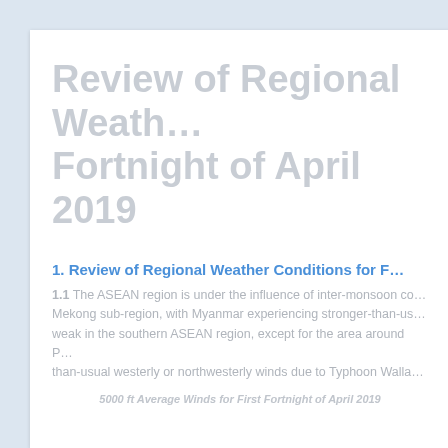Review of Regional Weather Conditions for First Fortnight of April 2019
1. Review of Regional Weather Conditions for First Fortnight of April 2019
1.1 The ASEAN region is under the influence of inter-monsoon conditions, particularly in the Mekong sub-region, with Myanmar experiencing stronger-than-usual winds. Winds were generally weak in the southern ASEAN region, except for the area around Philippines which experienced stronger-than-usual westerly or northwesterly winds due to Typhoon Walla...
5000 ft Average Winds for First Fortnight of April 2019